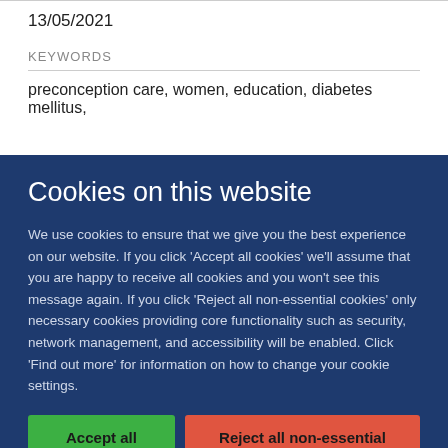13/05/2021
KEYWORDS
preconception care, women, education, diabetes mellitus,
Cookies on this website
We use cookies to ensure that we give you the best experience on our website. If you click 'Accept all cookies' we'll assume that you are happy to receive all cookies and you won't see this message again. If you click 'Reject all non-essential cookies' only necessary cookies providing core functionality such as security, network management, and accessibility will be enabled. Click 'Find out more' for information on how to change your cookie settings.
Accept all cookies
Reject all non-essential cookies